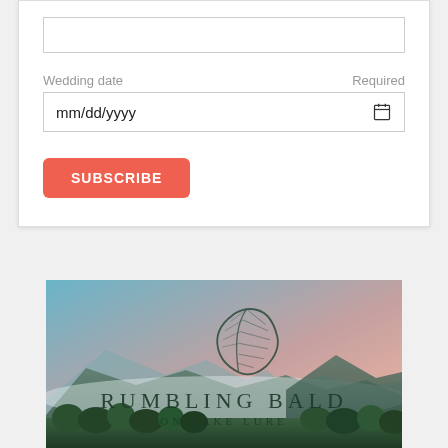Wedding date
Required
mm/dd/yyyy
SUBSCRIBE
[Figure (illustration): Advertisement image for Rumbling Bald on Lake Lure resort. Features a scenic mountain and lake landscape at sunset with pink and blue sky, green trees in the foreground, a stylized dark leaf logo in the center, and the text 'RUMBLING BALD' and 'ON LAKE LURE' in elegant lettering.]